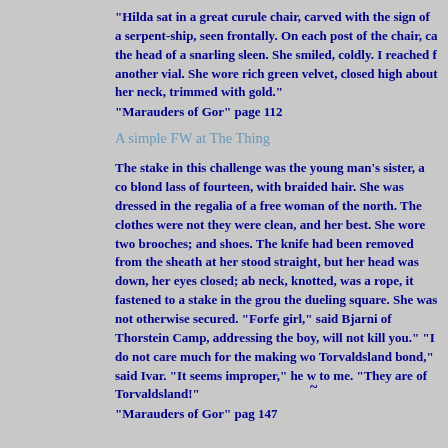"Hilda sat in a great curule chair, carved with the sign of a serpent-ship, seen frontally. On each post of the chair, carved the head of a snarling sleen. She smiled, coldly. I reached for another vial. She wore rich green velvet, closed high about her neck, trimmed with gold."
"Marauders of Gor" page 112
A simple FW at The Thing
The stake in this challenge was the young man's sister, a comely blond lass of fourteen, with braided hair. She was dressed in the regalia of a free woman of the north. The clothes were not rich, but they were clean, and her best. She wore two brooches; and shoes. The knife had been removed from the sheath at her belt. She stood straight, but her head was down, her eyes closed; about her neck, knotted, was a rope, it fastened to a stake in the ground in the dueling square. She was not otherwise secured. "Forfeit the girl," said Bjarni of Thorstein Camp, addressing the boy, "and I will not kill you." "I do not care much for the making women of Torvaldsland bond," said Ivar. "It seems improper," he whispered, to me. "They are of Torvaldsland!"
"Marauders of Gor" pag 147